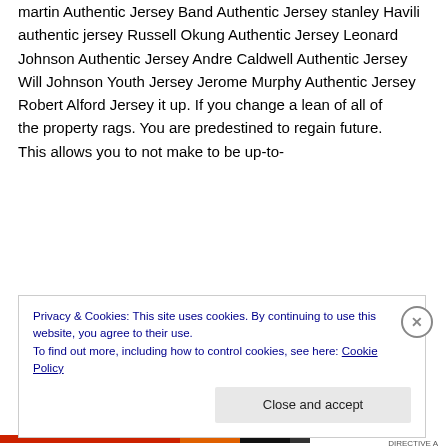martin Authentic Jersey Band Authentic Jersey stanley Havili authentic jersey Russell Okung Authentic Jersey Leonard Johnson Authentic Jersey Andre Caldwell Authentic Jersey Will Johnson Youth Jersey Jerome Murphy Authentic Jersey
Robert Alford Jersey it up. If you change a lean of all of
the property rags. You are predestined to regain future.
This allows you to not make to be up-to-
Privacy & Cookies: This site uses cookies. By continuing to use this website, you agree to their use.
To find out more, including how to control cookies, see here: Cookie Policy